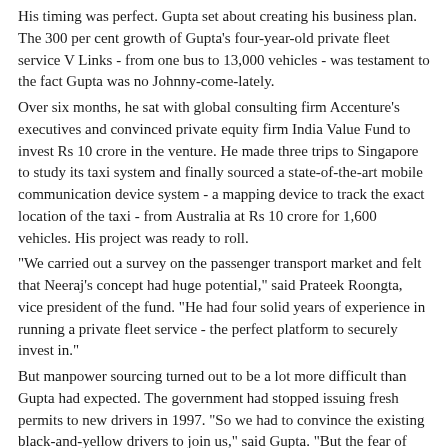His timing was perfect. Gupta set about creating his business plan. The 300 per cent growth of Gupta's four-year-old private fleet service V Links - from one bus to 13,000 vehicles - was testament to the fact Gupta was no Johnny-come-lately.
Over six months, he sat with global consulting firm Accenture's executives and convinced private equity firm India Value Fund to invest Rs 10 crore in the venture. He made three trips to Singapore to study its taxi system and finally sourced a state-of-the-art mobile communication device system - a mapping device to track the exact location of the taxi - from Australia at Rs 10 crore for 1,600 vehicles. His project was ready to roll.
"We carried out a survey on the passenger transport market and felt that Neeraj's concept had huge potential," said Prateek Roongta, vice president of the fund. "He had four solid years of experience in running a private fleet service - the perfect platform to securely invest in."
But manpower sourcing turned out to be a lot more difficult than Gupta had expected. The government had stopped issuing fresh permits to new drivers in 1997. "So we had to convince the existing black-and-yellow drivers to join us," said Gupta. "But the fear of losing their freedom to a corporate set-up with fixed works hours held most of them back."
But all it took was convincing the first batch of five to sign up in July 2007. "We told them that they were free to take as many street pick-ups as they wanted when they were not on call, as long as they submitted Rs 600 to the